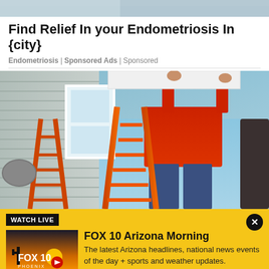[Figure (photo): Partial top of an outdoor photo, cropped]
Find Relief In your Endometriosis In {city}
Endometriosis | Sponsored Ads | Sponsored
[Figure (photo): Person in red shirt installing a window on a house exterior, standing on orange ladder, blue sky background]
[Figure (screenshot): FOX 10 Arizona Morning live stream widget with yellow background, WATCH LIVE badge, FOX 10 Phoenix thumbnail, and show description]